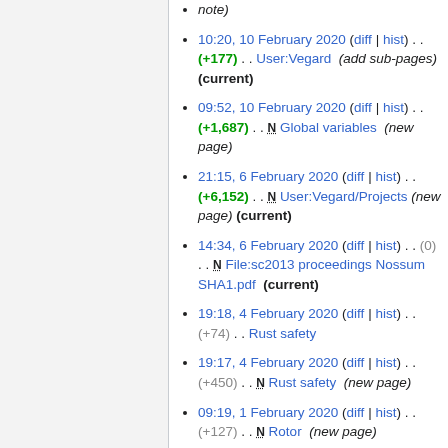note)
10:20, 10 February 2020 (diff | hist) . . (+177) . . User:Vegard (add sub-pages) (current)
09:52, 10 February 2020 (diff | hist) . . (+1,687) . . N Global variables (new page)
21:15, 6 February 2020 (diff | hist) . . (+6,152) . . N User:Vegard/Projects (new page) (current)
14:34, 6 February 2020 (diff | hist) . . (0) . . N File:sc2013 proceedings Nossum SHA1.pdf (current)
19:18, 4 February 2020 (diff | hist) . . (+74) . . Rust safety
19:17, 4 February 2020 (diff | hist) . . (+450) . . N Rust safety (new page)
09:19, 1 February 2020 (diff | hist) . . (+127) . . N Rotor (new page)
08:47, 31 January 2020 (diff | hist) . .